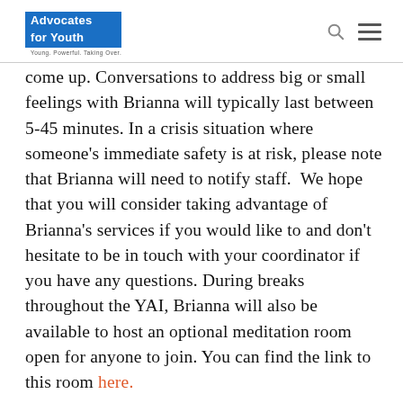Advocates for Youth — Young. Powerful. Taking Over.
come up. Conversations to address big or small feelings with Brianna will typically last between 5-45 minutes. In a crisis situation where someone's immediate safety is at risk, please note that Brianna will need to notify staff.  We hope that you will consider taking advantage of Brianna's services if you would like to and don't hesitate to be in touch with your coordinator if you have any questions. During breaks throughout the YAI, Brianna will also be available to host an optional meditation room open for anyone to join. You can find the link to this room here.